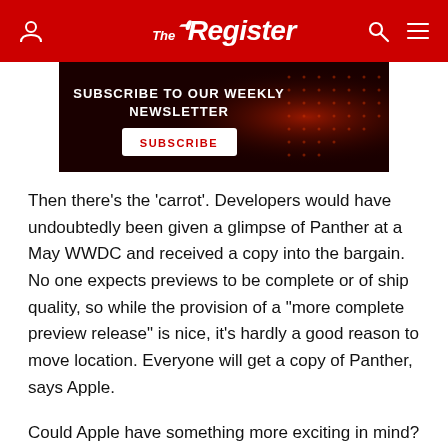The Register
[Figure (other): Subscribe to our weekly newsletter banner with dark red background and circuit pattern. Contains text 'SUBSCRIBE TO OUR WEEKLY NEWSLETTER' and a SUBSCRIBE button.]
Then there's the 'carrot'. Developers would have undoubtedly been given a glimpse of Panther at a May WWDC and received a copy into the bargain. No one expects previews to be complete or of ship quality, so while the provision of a "more complete preview release" is nice, it's hardly a good reason to move location. Everyone will get a copy of Panther, says Apple.
Could Apple have something more exciting in mind? A very tempting answer is IBM's 64-bit PowerPC 970